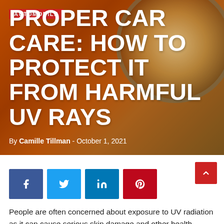[Figure (photo): Close-up of an orange/amber classic car body and headlight, used as hero background image]
AUTOMOBILE
PROPER CAR CARE: HOW TO PROTECT IT FROM HARMFUL UV RAYS
By Camille Tillman - October 1, 2021
[Figure (infographic): Social share buttons: Facebook, Twitter, LinkedIn, Pinterest]
People are often concerned about exposure to UV radiation as it can cause serious skin damage and other health issues. But did